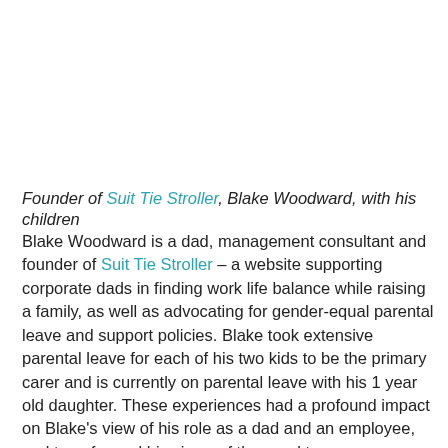Founder of Suit Tie Stroller, Blake Woodward, with his children
Blake Woodward is a dad, management consultant and founder of Suit Tie Stroller – a website supporting corporate dads in finding work life balance while raising a family, as well as advocating for gender-equal parental leave and support policies. Blake took extensive parental leave for each of his two kids to be the primary carer and is currently on parental leave with his 1 year old daughter. These experiences had a profound impact on Blake's view of his role as a dad and an employee, and transformed his views of the need to empower working parents to choose the best way to raise their families through gender neutral workplace policies.